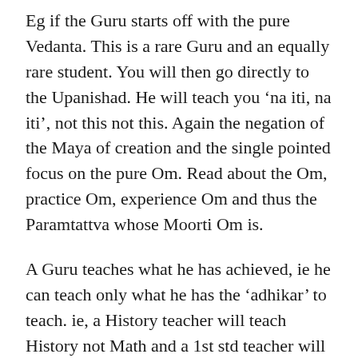Eg if the Guru starts off with the pure Vedanta. This is a rare Guru and an equally rare student. You will then go directly to the Upanishad. He will teach you 'na iti, na iti', not this not this. Again the negation of the Maya of creation and the single pointed focus on the pure Om. Read about the Om, practice Om, experience Om and thus the Paramtattva whose Moorti Om is.
A Guru teaches what he has achieved, ie he can teach only what he has the 'adhikar' to teach. ie, a History teacher will teach History not Math and a 1st std teacher will not teach PhD students. If a Guru has practiced the Gayatri mantra he will guide you with the Gayatri mantra. If he visualises the Gayatri as a Devi in a red sari then he will teach you this same visualisation. If he has visualised the Gayatri as the Advaita then he will be able to guide you till this final